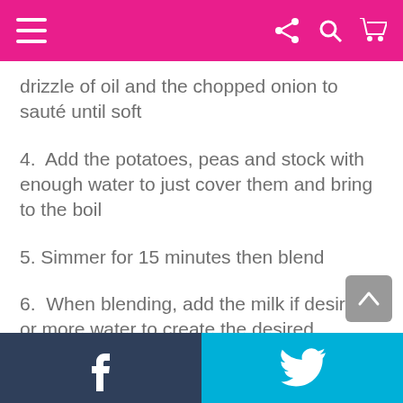≡ share search cart
drizzle of oil and the chopped onion to sauté until soft
4.  Add the potatoes, peas and stock with enough water to just cover them and bring to the boil
5. Simmer for 15 minutes then blend
6.  When blending, add the milk if desired or more water to create the desired consistency
We like to think our food is pretty tasty and healthy to boot, visit our Organix site for even more recipes and yummy snacks ideas.
f  (Twitter bird icon)